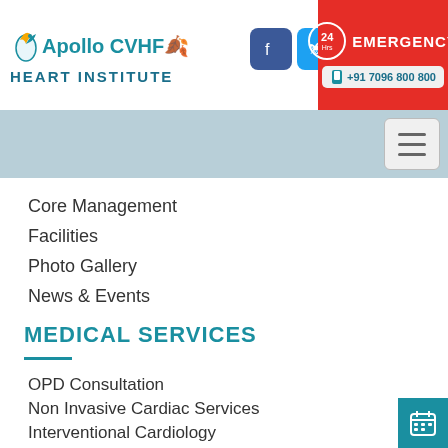[Figure (logo): Apollo CVHF Heart Institute logo with bird icon]
[Figure (illustration): Social media icons: Facebook, Twitter, YouTube]
[Figure (infographic): 24-hour Emergency red box with phone number +91 7096 800 800]
[Figure (illustration): Hamburger navigation menu button on light blue nav bar]
Core Management
Facilities
Photo Gallery
News & Events
MEDICAL SERVICES
OPD Consultation
Non Invasive Cardiac Services
Interventional Cardiology
Peripheral and Endovascular Cardiology
Cardiothoracic Surgery
Cardiometabolic Clinic